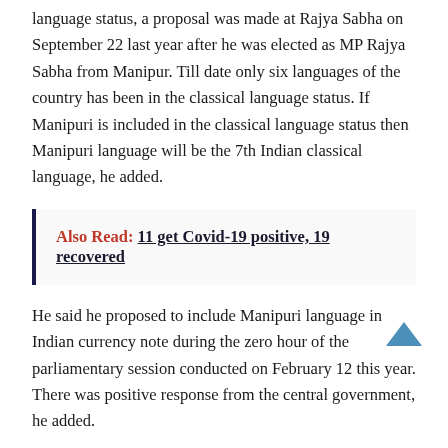language status, a proposal was made at Rajya Sabha on September 22 last year after he was elected as MP Rajya Sabha from Manipur. Till date only six languages of the country has been in the classical language status. If Manipuri is included in the classical language status then Manipuri language will be the 7th Indian classical language, he added.
Also Read: 11 get Covid-19 positive, 19 recovered
He said he proposed to include Manipuri language in Indian currency note during the zero hour of the parliamentary session conducted on February 12 this year. There was positive response from the central government, he added.
After he proposed the agenda to include Manipuri